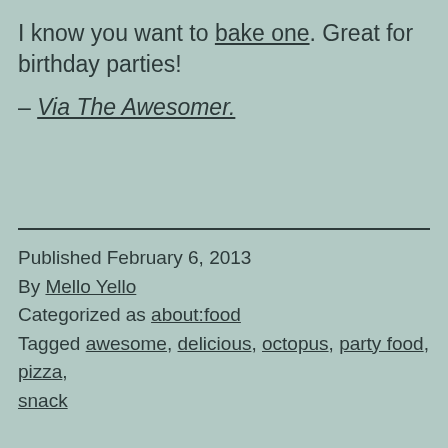I know you want to bake one. Great for birthday parties!
– Via The Awesomer.
Published February 6, 2013
By Mello Yello
Categorized as about:food
Tagged awesome, delicious, octopus, party food, pizza, snack